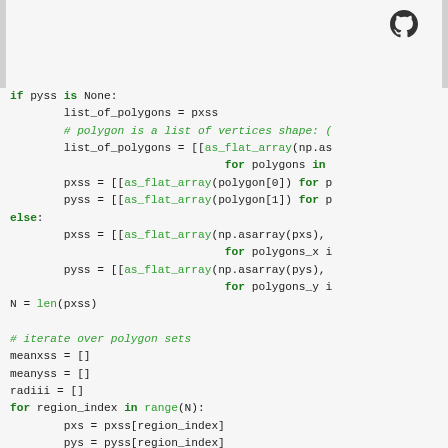[Figure (logo): GitHub Octocat logo icon, top right corner]
if pyss is None:
    list_of_polygons = pxss
    # polygon is a list of vertices shape: (
    list_of_polygons = [[as_flat_array(np.as
                        for polygons in
    pxss = [[as_flat_array(polygon[0]) for p
    pyss = [[as_flat_array(polygon[1]) for p
else:
    pxss = [[as_flat_array(np.asarray(pxs),
                        for polygons_x i
    pyss = [[as_flat_array(np.asarray(pys),
                        for polygons_y i
N = len(pxss)

# iterate over polygon sets
meanxss = []
meanyss = []
radiii = []
for region_index in range(N):
    pxs = pxss[region_index]
    pys = pyss[region_index]
    meanxs = []
    meanys = []
    radii = []